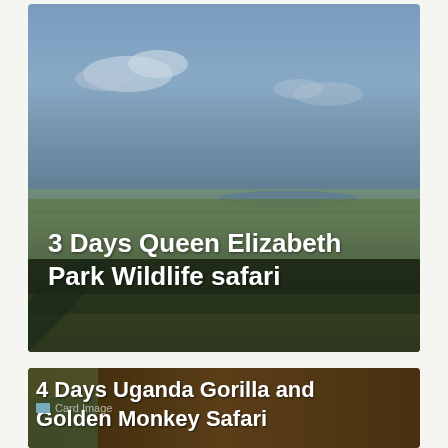[Figure (photo): Aerial/landscape photo of Queen Elizabeth Park, Uganda — sweeping savanna and woodland with a lake visible in the distance under a partly cloudy blue sky. Title text overlaid: '3 Days Queen Elizabeth Park Wildlife safari']
3 Days Queen Elizabeth Park Wildlife safari
[Figure (photo): Partially visible card image placeholder for a second card about '4 Days Uganda Gorilla and Golden Monkey Safari']
4 Days Uganda Gorilla and Golden Monkey Safari